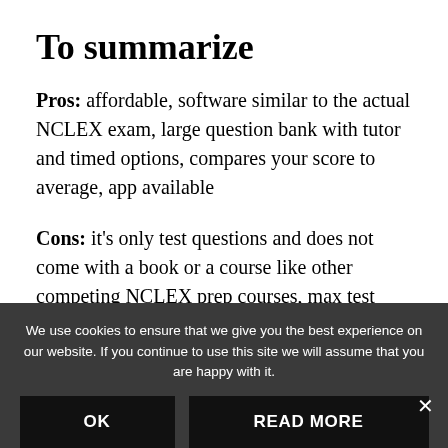To summarize
Pros:  affordable, software similar to the actual NCLEX exam, large question bank with tutor and timed options, compares your score to average, app available
Cons:  it's only test questions and does not come with a book or a course like other competing NCLEX prep courses, max test questions allowed is 44, had some very minor navigation issues figuring out the site that were easily resolved
We use cookies to ensure that we give you the best experience on our website. If you continue to use this site we will assume that you are happy with it.